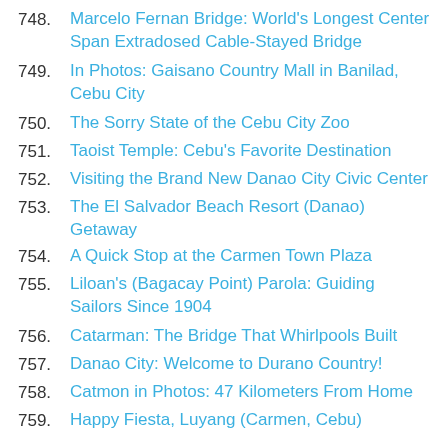748. Marcelo Fernan Bridge: World's Longest Center Span Extradosed Cable-Stayed Bridge
749. In Photos: Gaisano Country Mall in Banilad, Cebu City
750. The Sorry State of the Cebu City Zoo
751. Taoist Temple: Cebu's Favorite Destination
752. Visiting the Brand New Danao City Civic Center
753. The El Salvador Beach Resort (Danao) Getaway
754. A Quick Stop at the Carmen Town Plaza
755. Liloan's (Bagacay Point) Parola: Guiding Sailors Since 1904
756. Catarman: The Bridge That Whirlpools Built
757. Danao City: Welcome to Durano Country!
758. Catmon in Photos: 47 Kilometers From Home
759. Happy Fiesta, Luyang (Carmen, Cebu)